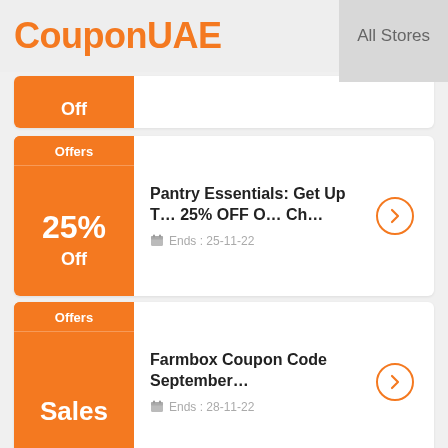CouponUAE   All Stores
[Figure (other): Partially visible coupon card showing orange badge with 'Off' text clipped at top]
Pantry Essentials: Get Up To 25% OFF On Ch...
Ends: 25-11-22
Farmbox Coupon Code September...
Ends: 28-11-22